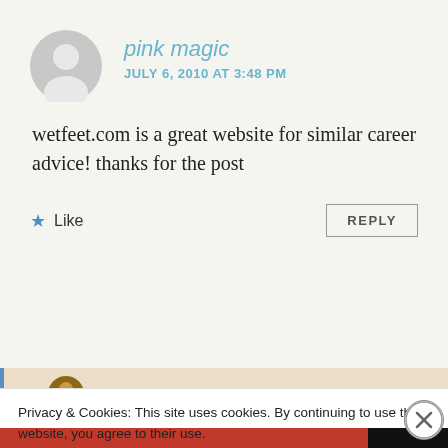pink magic
JULY 6, 2010 AT 3:48 PM
wetfeet.com is a great website for similar career advice! thanks for the post
Like
REPLY
Privacy & Cookies: This site uses cookies. By continuing to use this website, you agree to their use. To find out more, including how to control cookies, see here: Cookie Policy
Close and accept